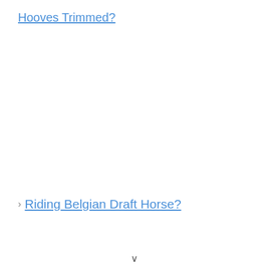Hooves Trimmed?
Riding Belgian Draft Horse?
v